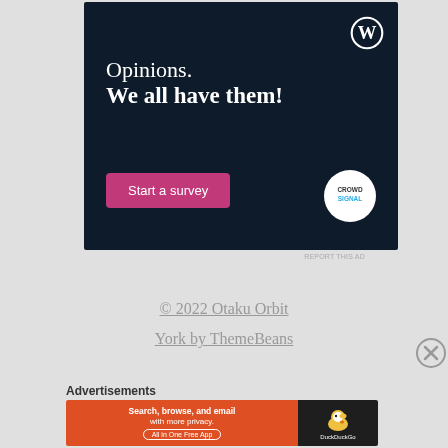[Figure (screenshot): WordPress/CrowdSignal advertisement banner with dark navy background. Shows WordPress logo (W in circle) top right, text 'Opinions. We all have them!', a pink 'Start a survey' button, and CrowdSignal circular logo.]
REPORT THIS AD
© 2022 Otaku Orbit
York by ThemeBeans
[Figure (other): Close/dismiss button (circle with X)]
Advertisements
[Figure (screenshot): DuckDuckGo advertisement banner. Left side orange background with text 'Search, browse, and email with more privacy.' and 'All in One Free App'. Right side dark background with DuckDuckGo duck logo and brand name.]
REPORT THIS AD